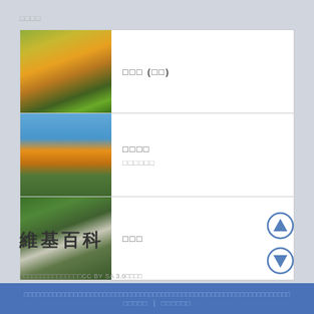□□□□
| [image: Van Gogh sunflowers painting] | □□□ (□□) |
| [image: Sunflower photo] | □□□□
□□□□□□ |
| [image: Plant/flower photo] | □□□ |
維基百科
[Figure (illustration): Up navigation arrow circle icon]
[Figure (illustration): Down navigation arrow circle icon]
□□□□□□□□□□□□□□□CC BY SA 3.0□□□□
□□□□□□□□□□□□□□□□□□□□□□□□□□□□□□□□□□□□□□□□□□□□□□□□□□□□□□□□□□□□□□□□
□□□□□ | □□□□□□